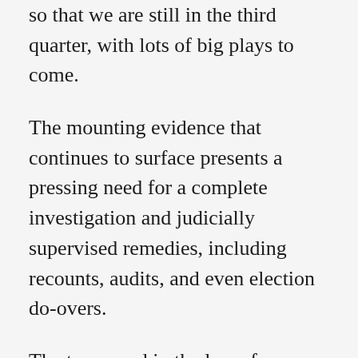so that we are still in the third quarter, with lots of big plays to come.
The mounting evidence that continues to surface presents a pressing need for a complete investigation and judicially supervised remedies, including recounts, audits, and even election do-overs.
The term used in the law of negligence, res ipsa loquitur, has a counterpart appropriateness here. The Latin term, which means “the thing speaks for itself,” stems from its use in Roman trials. In tort law, it provides elements of a cause of action, when a tortious injury would not ordinarily occur without negligence.